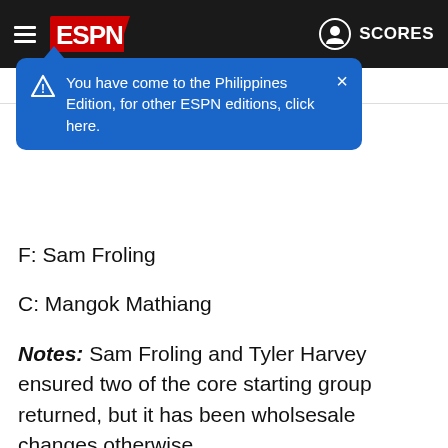ESPN — SCORES
You have come to the Philippines Edition, for other ESPN editions, click here.
F: Sam Froling
C: Mangok Mathiang
Notes: Sam Froling and Tyler Harvey ensured two of the core starting group returned, but it has been wholsesale changes otherwise.
Brian Goorjian was arguably to biggest loss as head coach, before Antonius Cleveland, Duop Reath and Xavier Rathan-Mayes all exited.
Mangok Mathing will replace Reath, while the addition of Justin Robinson adds ball handling and scoring at the guard